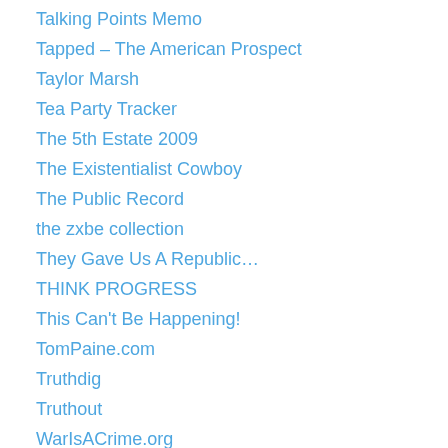Talking Points Memo
Tapped – The American Prospect
Taylor Marsh
Tea Party Tracker
The 5th Estate 2009
The Existentialist Cowboy
The Public Record
the zxbe collection
They Gave Us A Republic…
THINK PROGRESS
This Can't Be Happening!
TomPaine.com
Truthdig
Truthout
WarIsACrime.org
White Noise Insanity
Why Tuesday?
World Public Opinion
[more liberal and progressive blogs]